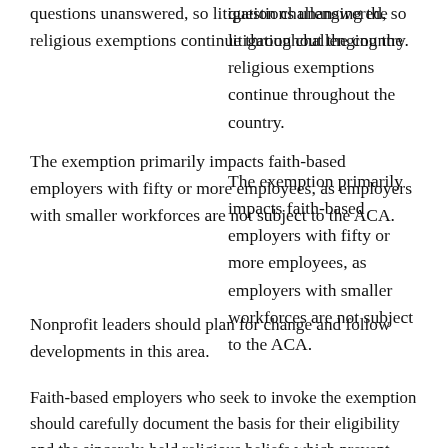questions unanswered, so litigation challenging the religious exemptions continue throughout the country.
The exemption primarily impacts faith-based employers with fifty or more employees, as employers with smaller workforces are not subject to the ACA.
Nonprofit leaders should plan for change and follow developments in this area.
Faith-based employers who seek to invoke the exemption should carefully document the basis for their eligibility and the sincerely-held religious beliefs which prevent their participation in the provision of contraception.